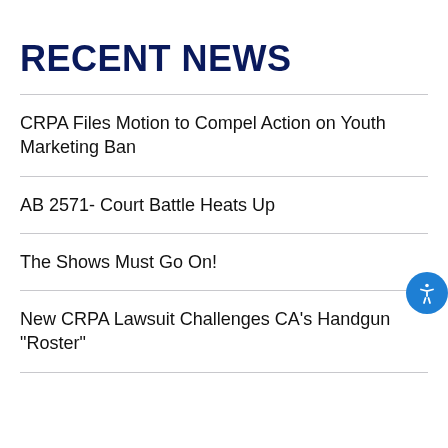RECENT NEWS
CRPA Files Motion to Compel Action on Youth Marketing Ban
AB 2571- Court Battle Heats Up
The Shows Must Go On!
New CRPA Lawsuit Challenges CA's Handgun "Roster"